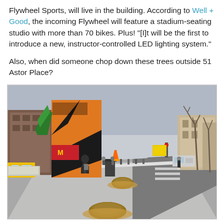Flywheel Sports, will live in the building. According to Well + Good, the incoming Flywheel will feature a stadium-seating studio with more than 70 bikes. Plus! "[I]t will be the first to introduce a new, instructor-controlled LED lighting system."
Also, when did someone chop down these trees outside 51 Astor Place?
[Figure (photo): Street-level photo of 51 Astor Place area in New York City showing a sidewalk with chopped tree stumps, pedestrians walking, yellow taxis, construction barriers, and a row of buildings including one with orange and black signage, bare winter trees on the right side.]